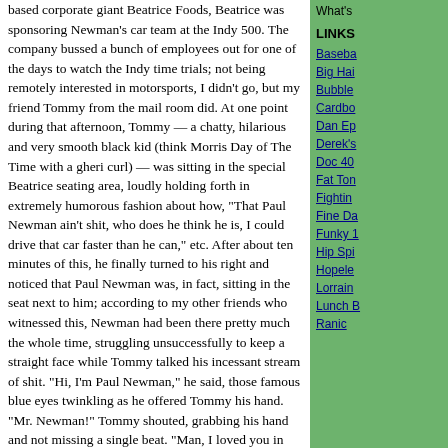based corporate giant Beatrice Foods, Beatrice was sponsoring Newman's car team at the Indy 500. The company bussed a bunch of employees out for one of the days to watch the Indy time trials; not being remotely interested in motorsports, I didn't go, but my friend Tommy from the mail room did. At one point during that afternoon, Tommy — a chatty, hilarious and very smooth black kid (think Morris Day of The Time with a gheri curl) — was sitting in the special Beatrice seating area, loudly holding forth in extremely humorous fashion about how, "That Paul Newman ain't shit, who does he think he is, I could drive that car faster than he can," etc. After about ten minutes of this, he finally turned to his right and noticed that Paul Newman was, in fact, sitting in the seat next to him; according to my other friends who witnessed this, Newman had been there pretty much the whole time, struggling unsuccessfully to keep a straight face while Tommy talked his incessant stream of shit. "Hi, I'm Paul Newman," he said, those famous blue eyes twinkling as he offered Tommy his hand. "Mr. Newman!" Tommy shouted, grabbing his hand and not missing a single beat. "Man, I loved you in The Verdict!"
Posted on September 27, 2008 at 08:28 AM in Random Pop Culture, Stuffs N' Thangs, What's Goin' On? | Permalink
What's
LINKS
Baseba
Big Hai
Bubble
Cardbo
Dan Ep
Derek's
Doc 40
Fat Ton
Fightin
Fine Da
Funky 1
Hip Spi
Hopele
Lorrain
Lunch B
Ranic